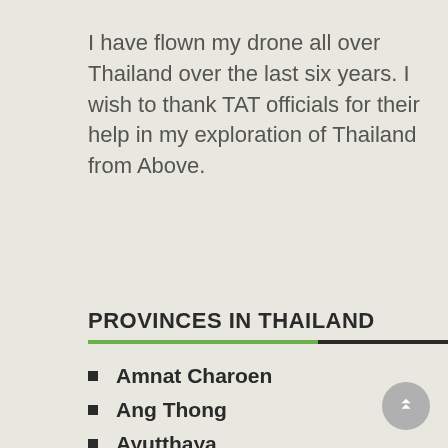I have flown my drone all over Thailand over the last six years. I wish to thank TAT officials for their help in my exploration of Thailand from Above.
PROVINCES IN THAILAND
Amnat Charoen
Ang Thong
Ayutthaya